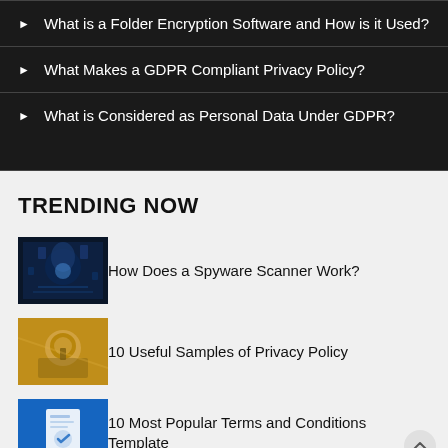What is a Folder Encryption Software and How is it Used?
What Makes a GDPR Compliant Privacy Policy?
What is Considered as Personal Data Under GDPR?
TRENDING NOW
[Figure (photo): Cyber hacker in hoodie with digital blue glowing background]
How Does a Spyware Scanner Work?
[Figure (photo): Gold door knob with key inserted, close-up photo]
10 Useful Samples of Privacy Policy
[Figure (photo): Blue background with document and checkmark icon illustration]
10 Most Popular Terms and Conditions Template